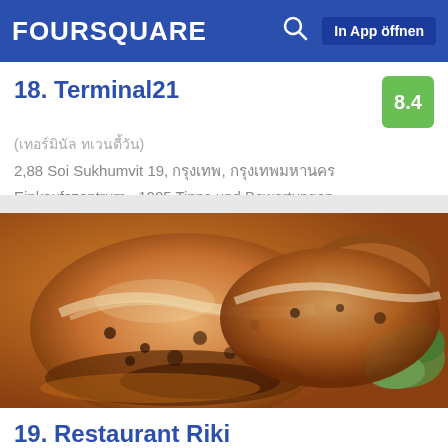FOURSQUARE   In App öffnen
18. Terminal21
(เทอร์มินัล ทเวนตี้วัน)
2,88 Soi Sukhumvit 19, กรุงเทพ, กรุงเทพมหานคร
Einkaufszentrum · 1085 Tipps und Bewertungen
[Figure (photo): Close-up photo of pan-fried dumplings/gyoza with golden-brown crispy bottoms on a plate with green garnish]
19. Restaurant Riki
141 E 45th St (btwn Lexington & 3rd), New York City, NY
Japanisches Restaurant · Turtle Bay · 44 Tipps und